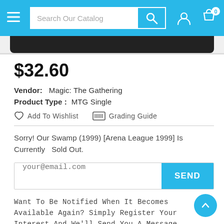[Figure (screenshot): Navigation bar with hamburger menu, search box labeled 'Search Our Catalog', search button, user icon, and cart icon with 0 badge]
$32.60
Vendor:   Magic: The Gathering
Product Type :   MTG Single
♡  Add To Wishlist     ▦  Grading Guide
Sorry! Our Swamp (1999) [Arena League 1999] Is Currently   Sold Out.
your@email.com  [SEND]
Want To Be Notified When It Becomes Available Again? Simply Register Your Interest And We'll Send You A Message When It Does.